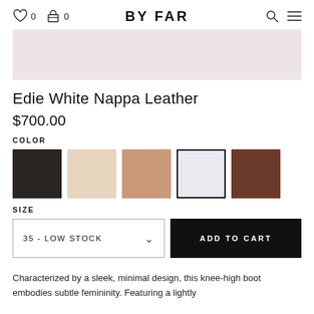BY FAR
[Figure (other): Product image area - light pink/beige background placeholder for product image]
Edie White Nappa Leather
$700.00
COLOR
[Figure (other): Five color swatches: black, cream, tan, white (selected with border), dark brown]
SIZE
35 - LOW STOCK
ADD TO CART
Characterized by a sleek, minimal design, this knee-high boot embodies subtle femininity. Featuring a lightly